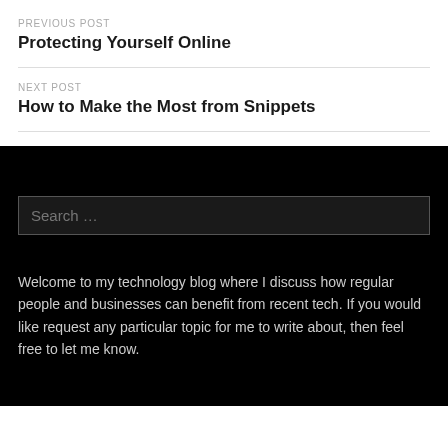PREVIOUS POST
Protecting Yourself Online
NEXT POST
How to Make the Most from Snippets
Search …
Welcome to my technology blog where I discuss how regular people and businesses can benefit from recent tech. If you would like request any particular topic for me to write about, then feel free to let me know.